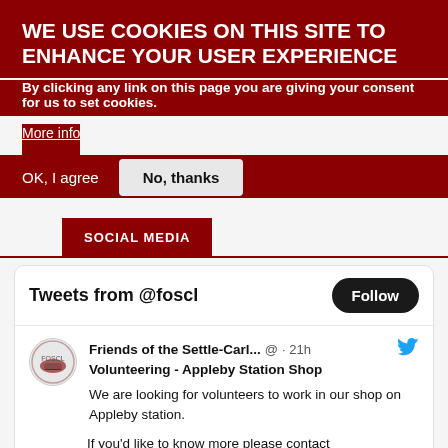WE USE COOKIES ON THIS SITE TO ENHANCE YOUR USER EXPERIENCE
By clicking any link on this page you are giving your consent for us to set cookies.
More info
OK, I agree
No, thanks
SOCIAL MEDIA
[Figure (screenshot): Twitter/X widget showing Tweets from @foscl with a Follow button, and a tweet from Friends of the Settle-Carl... posted 21h ago about Volunteering at Appleby Station Shop.]